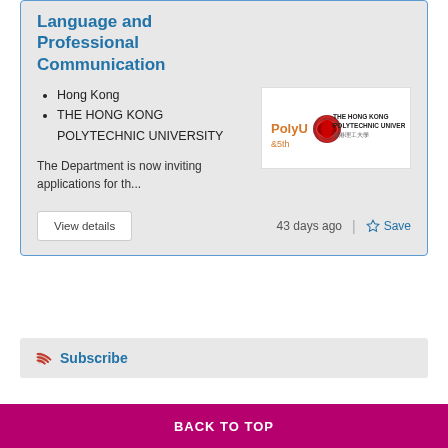Language and Professional Communication
Hong Kong
THE HONG KONG POLYTECHNIC UNIVERSITY
[Figure (logo): PolyU 85th anniversary logo — The Hong Kong Polytechnic University]
The Department is now inviting applications for th...
View details
43 days ago
Save
Subscribe
BACK TO TOP